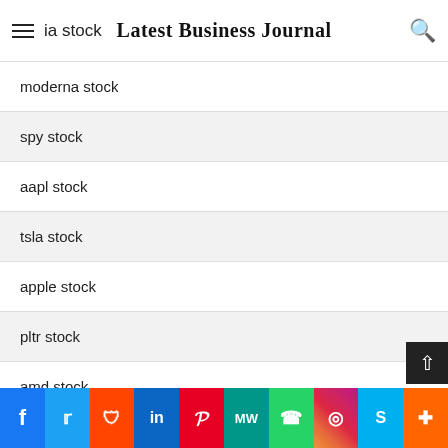Latest Business Journal
moderna stock
spy stock
aapl stock
tsla stock
apple stock
pltr stock
amd stock
gamestop stock